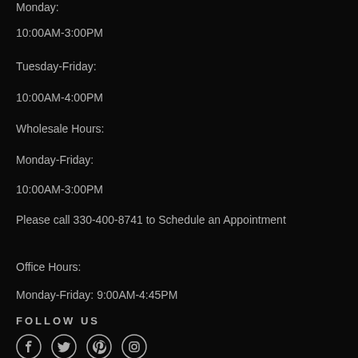Monday:
10:00AM-3:00PM
Tuesday-Friday:
10:00AM-4:00PM
Wholesale Hours:
Monday-Friday:
10:00AM-3:00PM
Please call 330-400-8741 to Schedule an Appointment
Office Hours:
Monday-Friday: 9:00AM-4:45PM
FOLLOW US
[Figure (illustration): Social media icons: Facebook, Twitter, Pinterest, Instagram]